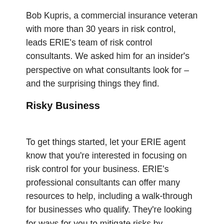Bob Kupris, a commercial insurance veteran with more than 30 years in risk control, leads ERIE's team of risk control consultants. We asked him for an insider's perspective on what consultants look for – and the surprising things they find.
Risky Business
To get things started, let your ERIE agent know that you're interested in focusing on risk control for your business. ERIE's professional consultants can offer many resources to help, including a walk-through for businesses who qualify. They're looking for ways for you to mitigate risks by